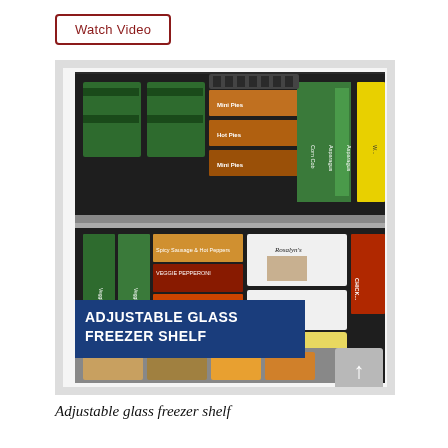Watch Video
[Figure (photo): Interior of a refrigerator freezer section showing two shelves loaded with frozen food items including green storage boxes, orange/yellow frozen food boxes, green vegetable packages, white boxes labeled Rosalyn's, a banana ice cream container, and various other frozen items. A blue banner overlay reads 'ADJUSTABLE GLASS FREEZER SHELF'. A navigation arrow button is visible in the lower right corner.]
Adjustable glass freezer shelf